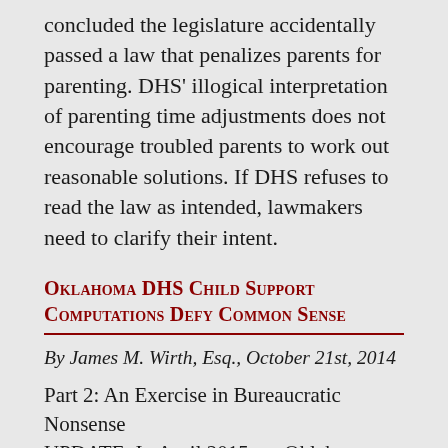concluded the legislature accidentally passed a law that penalizes parents for parenting. DHS' illogical interpretation of parenting time adjustments does not encourage troubled parents to work out reasonable solutions. If DHS refuses to read the law as intended, lawmakers need to clarify their intent.
Oklahoma DHS Child Support Computations Defy Common Sense
By James M. Wirth, Esq., October 21st, 2014
Part 2: An Exercise in Bureaucratic Nonsense UPDATE: In April 2015, an Oklahoma judge found that DHS had overstated interest on back child support obligations of some non-custodial parents. Learn how DHS calculated interest why some